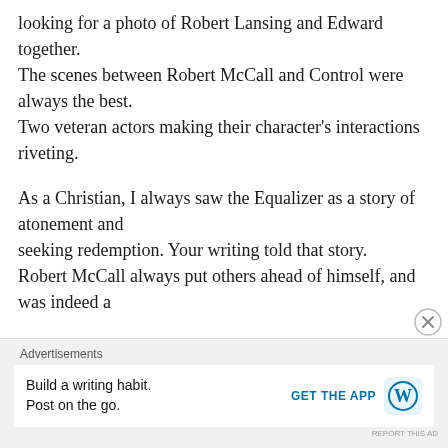looking for a photo of Robert Lansing and Edward together.
The scenes between Robert McCall and Control were always the best.
Two veteran actors making their character's interactions riveting.

As a Christian, I always saw the Equalizer as a story of atonement and seeking redemption. Your writing told that story.
Robert McCall always put others ahead of himself, and was indeed a
[Figure (other): Advertisement banner with WordPress logo: 'Build a writing habit. Post on the go.' with GET THE APP call-to-action button and WordPress icon.]